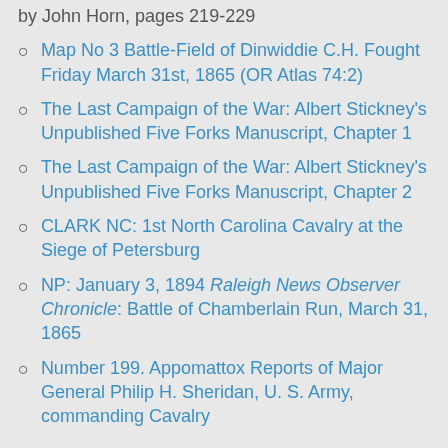by John Horn, pages 219-229
Map No 3 Battle-Field of Dinwiddie C.H. Fought Friday March 31st, 1865 (OR Atlas 74:2)
The Last Campaign of the War: Albert Stickney's Unpublished Five Forks Manuscript, Chapter 1
The Last Campaign of the War: Albert Stickney's Unpublished Five Forks Manuscript, Chapter 2
CLARK NC: 1st North Carolina Cavalry at the Siege of Petersburg
NP: January 3, 1894 Raleigh News Observer Chronicle: Battle of Chamberlain Run, March 31, 1865
Number 199. Appomattox Reports of Major General Philip H. Sheridan, U. S. Army, commanding Cavalry